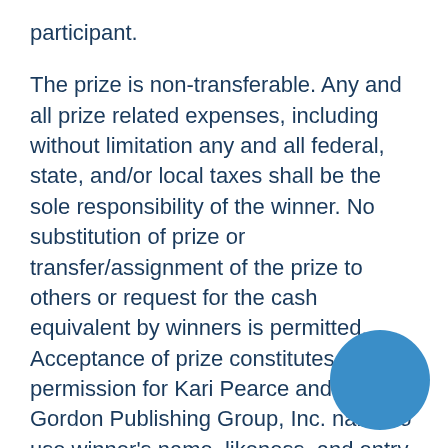participant.
The prize is non-transferable. Any and all prize related expenses, including without limitation any and all federal, state, and/or local taxes shall be the sole responsibility of the winner. No substitution of prize or transfer/assignment of the prize to others or request for the cash equivalent by winners is permitted. Acceptance of prize constitutes permission for Kari Pearce and M. Gordon Publishing Group, Inc. name to use winner's name, likeness, and entry for purposes of advertising and trade without further compensation, unless prohibited by law.
7. Odds: The odds of winning depend on the number of eligible entries received in the Contest prior to the drawing date.